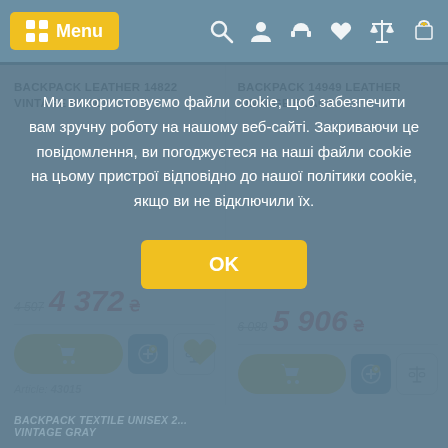Menu
BACKPACK LEATHER 14822 VINTAGE BLACK
4 507  4 372 ₴
Article: 43015
BACKPACK 14949 LEATHER VINTAGE BLACK
6 089  5 906 ₴
Ми використовуємо файли cookie, щоб забезпечити вам зручну роботу на нашому веб-сайті. Закриваючи це повідомлення, ви погоджуєтеся на наші файли cookie на цьому пристрої відповідно до нашої політики cookie, якщо ви не відключили їх.
OK
BACKPACK TEXTILE UNISEX 2... VINTAGE GRAY